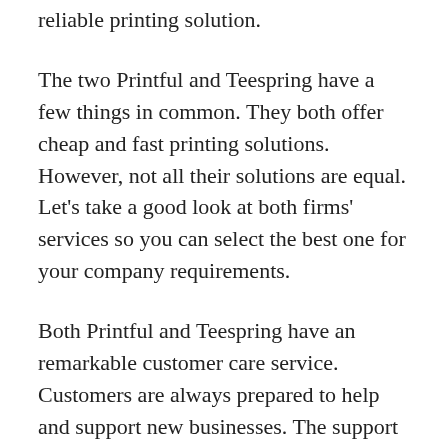reliable printing solution.
The two Printful and Teespring have a few things in common. They both offer cheap and fast printing solutions. However, not all their solutions are equal. Let’s take a good look at both firms’ services so you can select the best one for your company requirements.
Both Printful and Teespring have an remarkable customer care service. Customers are always prepared to help and support new businesses. The support and help you receive will certainly help you decide which method is ideal for your company.
The two Printful and Teespring also have a wide variety of templates to choose from. So no